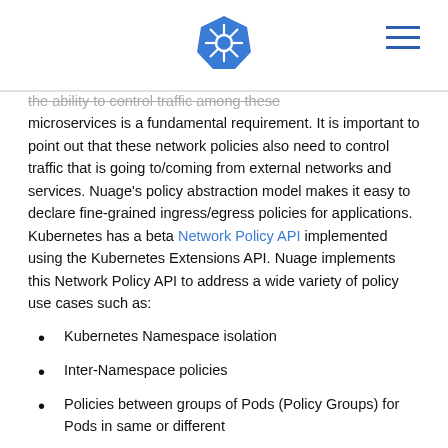[Kubernetes logo] [hamburger menu]
the ability to control traffic among these microservices is a fundamental requirement. It is important to point out that these network policies also need to control traffic that is going to/coming from external networks and services. Nuage’s policy abstraction model makes it easy to declare fine-grained ingress/egress policies for applications. Kubernetes has a beta Network Policy API implemented using the Kubernetes Extensions API. Nuage implements this Network Policy API to address a wide variety of policy use cases such as:
Kubernetes Namespace isolation
Inter-Namespace policies
Policies between groups of Pods (Policy Groups) for Pods in same or different